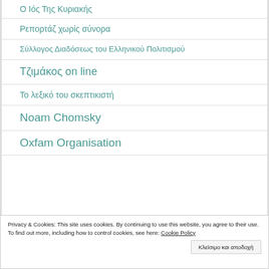Ο Ιός Της Κυριακής
Ρεπορτάζ χωρίς σύνορα
Σύλλογος Διαδόσεως του Ελληνικού Πολιτισμού
Τζιμάκος on line
Το λεξικό του σκεπτικιστή
Noam Chomsky
Oxfam Organisation
Privacy & Cookies: This site uses cookies. By continuing to use this website, you agree to their use.
To find out more, including how to control cookies, see here: Cookie Policy
Κλείσιμο και αποδοχή